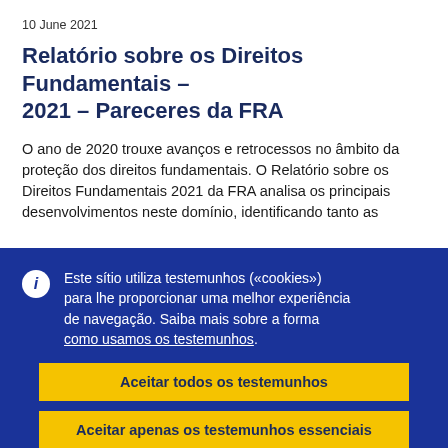10 June 2021
Relatório sobre os Direitos Fundamentais – 2021 – Pareceres da FRA
O ano de 2020 trouxe avanços e retrocessos no âmbito da proteção dos direitos fundamentais. O Relatório sobre os Direitos Fundamentais 2021 da FRA analisa os principais desenvolvimentos neste domínio, identificando tanto as
Este sítio utiliza testemunhos («cookies») para lhe proporcionar uma melhor experiência de navegação. Saiba mais sobre a forma como usamos os testemunhos.
Aceitar todos os testemunhos
Aceitar apenas os testemunhos essenciais